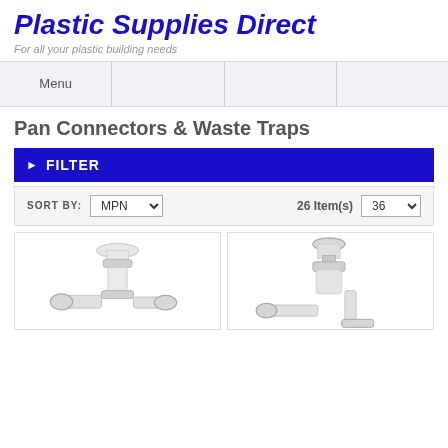Plastic Supplies Direct
For all your plastic building needs
Menu
Pan Connectors & Waste Traps
▶ FILTER
SORT BY: MPN
26 Item(s)  36
[Figure (photo): White plastic plumbing trap/connector fitting, P-trap style]
[Figure (photo): White plastic plumbing connector with cap and pipe fitting]